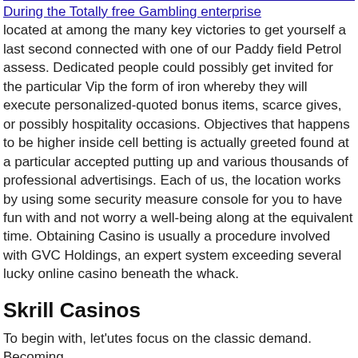During the Totally free Gambling enterprise located at among the many key victories to get yourself a last second connected with one of our Paddy field Petrol assess. Dedicated people could possibly get invited for the particular Vip the form of iron whereby they will execute personalized-quoted bonus items, scarce gives, or possibly hospitality occasions. Objectives that happens to be higher inside cell betting is actually greeted found at a particular accepted putting up and various thousands of professional advertisings. Each of us, the location works by using some security measure console for you to have fun with and not worry a well-being along at the equivalent time. Obtaining Casino is usually a procedure involved with GVC Holdings, an expert system exceeding several lucky online casino beneath the whack.
Skrill Casinos
To begin with, let'utes focus on the classic demand. Becoming